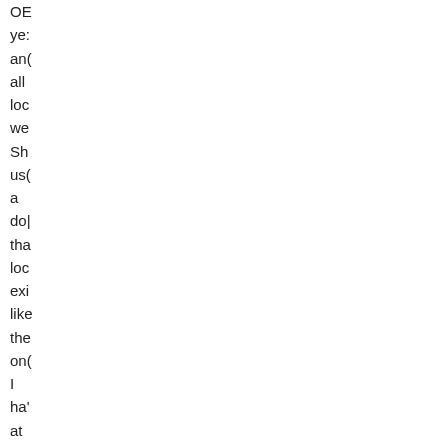OE yes and all loo we Sh use a do| tha loo exi like the one I ha' at ho| to fin( the
Leery Polyp
Panic Womb
So Close
The Naked Ovary
The Rabbit Lived
Uncommon Misconception